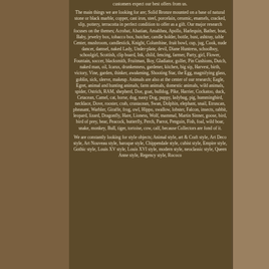customers expect our best offers from us.
The main things we are looking for are; Solid Bronze mounted on a base of natural stone or black marble, copper, cast iron, steel, porcelain, ceramic, enamels, cracked, slip, pottery, terracotta in perfect condition to offer as a gift. Our major research focuses on the themes; Acrobat, Alsatian, Amalthea, Apollo, Harlequin, Bather, boat, Baby, jewelry box, tobacco box, butcher, candle holder, bottle, bust, ashtray, table Center, mushroom, candlestick, Knight, Columbine, fruit bowl, cup, jug, Cook, nude dancer, damsel, naked Lady, Under-plate, devil, Diane Huntress, schoolboy, schoolgirl, Scottish, clip board, Ink, child, fencing, farmer, Party, girl, Flower, Fountain, soccer, blacksmith, Fruitman, Boy, Gladiator, golfer, Pin Cushions, Dutch, naked man, oil, Icarus, drunkenness, gardener, kitchen, big sip, Harvest, birth, victory, Vine, garden, thinker, awakening, Shooting Star, the Egg, magnifying glass, goblin, sick, sleeve, makeup. Animals are also at the center of our research; Eagle, Egret, animal and hunting animals, farm animals, domestic animals, wild animals, spider, Ostrich, RAM, shepherd, Doe, goat, bulldog, Pike, Harrier, Cockatoo, duck, Cetacean, Camel, cat, horse, dog, nasty Dog, puppy, ladybug, pig, hummingbird, necklace, Dove, rooster, crab, crustacean, Swan, Dolphin, elephant, snail, Etruscan, pheasant, Warbler, Giraffe, frog, owl, Hippo, swallow, lobster, Falcon, insects, rabbit, leopard, lizard, Dragonfly, Hare, Lioness, Wolf, mammal, Martin Sinner, goose, bird, bird of prey, bear, Peacock, butterfly, Perch, Parrot, Penguin, Fish, foal, wild boar, snake, monkey, Bull, tiger, tortoise, cow, calf, because Collectors are fond of it.
We are constantly looking for style objects; Animal style, art & Craft style, Art Deco style, Art Nouveau style, baroque style, Chippendale style, cubist style, Empire style, Gothic style, Louis XV style, Louis XVI style, modern style, neoclassic style, Queen Anne style, Regency style, Rococo